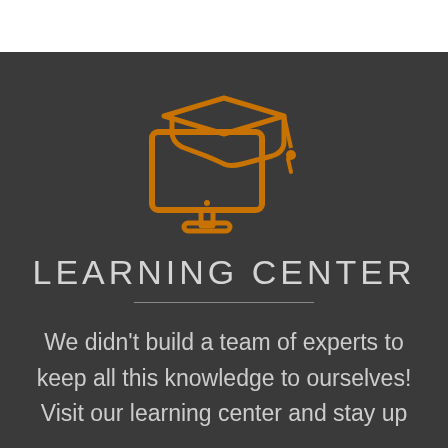[Figure (illustration): Orange line-art icon of a desktop computer monitor with a graduation cap on top, representing a learning center.]
LEARNING CENTER
We didn't build a team of experts to keep all this knowledge to ourselves! Visit our learning center and stay up